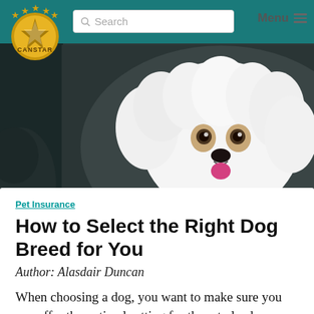CANSTAR — Search — Menu
[Figure (photo): Photo collage of three dogs: a fluffy white small dog (Maltese type) on the left, a brown/tan mixed breed dog with a collar in the center-right, and a partial dark dog on the far right, all against dark studio backgrounds.]
Pet Insurance
How to Select the Right Dog Breed for You
Posted by Andrew Broadley June 15, 2022
Author: Alasdair Duncan
When choosing a dog, you want to make sure you can offer the optimal setting for them to lead a